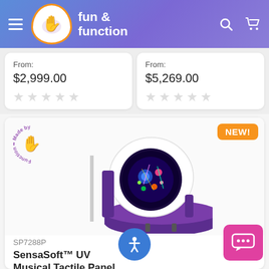fun & function
From:
$2,999.00
From:
$5,269.00
[Figure (photo): SensaSoft UV Musical Tactile Panel product photo — a white and purple children's activity station with rounded arch backboard featuring a circular UV light panel with colorful sensory elements, and a half-moon shaped padded base seat]
SP7288P
SensaSoft™ UV Musical Tactile Panel